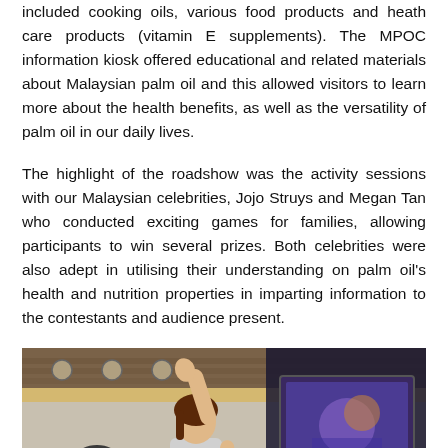included cooking oils, various food products and heath care products (vitamin E supplements). The MPOC information kiosk offered educational and related materials about Malaysian palm oil and this allowed visitors to learn more about the health benefits, as well as the versatility of palm oil in our daily lives.
The highlight of the roadshow was the activity sessions with our Malaysian celebrities, Jojo Struys and Megan Tan who conducted exciting games for families, allowing participants to win several prizes. Both celebrities were also adept in utilising their understanding on palm oil's health and nutrition properties in imparting information to the contestants and audience present.
[Figure (photo): Photo of a woman raising her hand at an indoor event, with a wooden ceiling, a screen in the background showing a colorful image, and people visible at the bottom of the frame.]